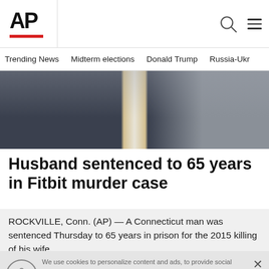AP
Trending News  Midterm elections  Donald Trump  Russia-Ukr
[Figure (photo): Photo of a man in a dark suit and tie, partial view from neck down]
Husband sentenced to 65 years in Fitbit murder case
ROCKVILLE, Conn. (AP) — A Connecticut man was sentenced Thursday to 65 years in prison for the 2015 killing of his wife,...
We use cookies to personalize content and ads, to provide social media features and to analyze our traffic. We also share information about your use of our site with our social media, advertising and analytics partners. Privacy Policy
Cookies Settings  Accept All Cookies